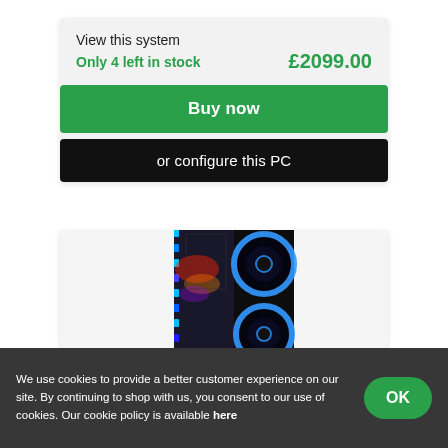View this system
Only 4 left in stock
£2099.00
Buy now
or configure this PC
[Figure (photo): Black gaming PC tower with RGB blue fan rings and colorful LED side panel lighting]
We use cookies to provide a better customer experience on our site. By continuing to shop with us, you consent to our use of cookies. Our cookie policy is available here
OK